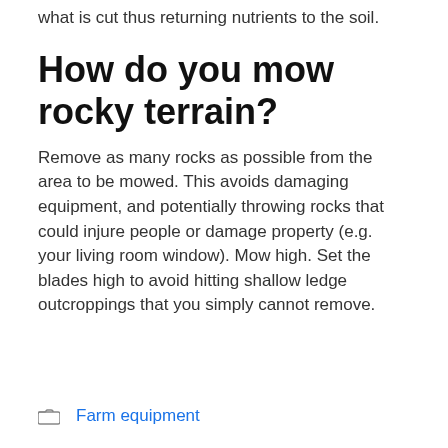what is cut thus returning nutrients to the soil.
How do you mow rocky terrain?
Remove as many rocks as possible from the area to be mowed. This avoids damaging equipment, and potentially throwing rocks that could injure people or damage property (e.g. your living room window). Mow high. Set the blades high to avoid hitting shallow ledge outcroppings that you simply cannot remove.
Farm equipment